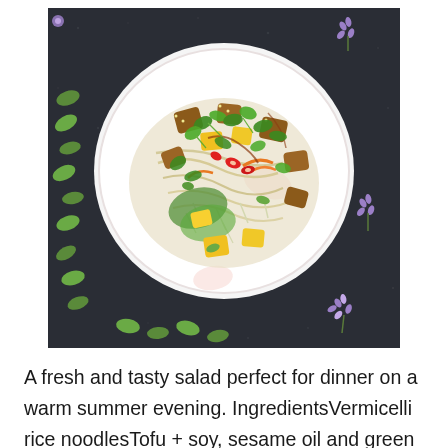[Figure (photo): Overhead/top-down photograph of a white plate containing a fresh salad with rice vermicelli noodles, cubed mango, crispy tofu pieces, fresh cilantro, red chili slices, bean sprouts, and edamame, drizzled with sauce. The plate sits on a dark speckled surface scattered with loose edamame beans, purple lavender flowers, and additional garnishes around it.]
A fresh and tasty salad perfect for dinner on a warm summer evening. IngredientsVermicelli rice noodlesTofu + soy, sesame oil and green curry for